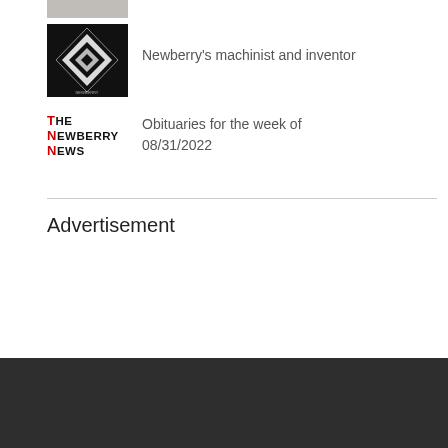[Figure (photo): Partial cropped image at top, grey/tan color]
[Figure (photo): Black and white checkered/abstract image for Newberry machinist and inventor article]
Newberry's machinist and inventor
[Figure (logo): The Newberry News logo with red T, N, N letters]
Obituaries for the week of 08/31/2022
Advertisement